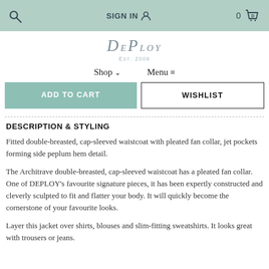SIGN IN  0
DePloy EST. 2006
Shop  Menu
ADD TO CART   WISHLIST
DESCRIPTION & STYLING
Fitted double-breasted, cap-sleeved waistcoat with pleated fan collar, jet pockets forming side peplum hem detail.
The Architrave double-breasted, cap-sleeved waistcoat has a pleated fan collar. One of DEPLOY's favourite signature pieces, it has been expertly constructed and cleverly sculpted to fit and flatter your body. It will quickly become the cornerstone of your favourite looks.
Layer this jacket over shirts, blouses and slim-fitting sweatshirts. It looks great with trousers or jeans.